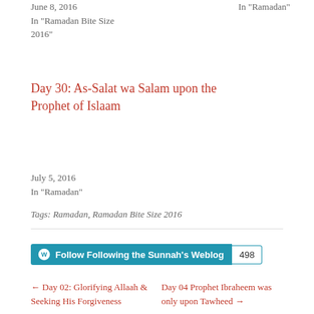June 8, 2016
In "Ramadan Bite Size 2016"
In "Ramadan"
Day 30: As-Salat wa Salam upon the Prophet of Islaam
July 5, 2016
In "Ramadan"
Tags: Ramadan, Ramadan Bite Size 2016
Follow Following the Sunnah's Weblog 498
← Day 02: Glorifying Allaah & Seeking His Forgiveness
Day 04 Prophet Ibraheem was only upon Tawheed →
SEARCH
Search this site...